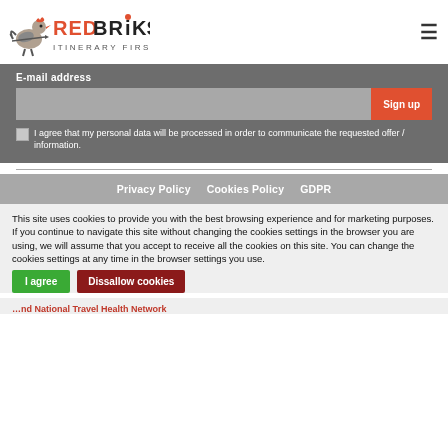RedBriks Itinerary First Aid
E-mail address
Sign up
I agree that my personal data will be processed in order to communicate the requested offer / information.
Privacy Policy   Cookies Policy   GDPR
This site uses cookies to provide you with the best browsing experience and for marketing purposes.
If you continue to navigate this site without changing the cookies settings in the browser you are using, we will assume that you accept to receive all the cookies on this site. You can change the cookies settings at any time in the browser settings you use.
I agree
Dissallow cookies